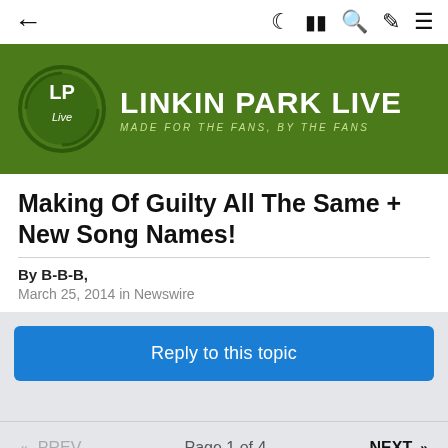← navigation bar with icons: moon, card, search, brush, menu
[Figure (logo): Linkin Park Live banner - green background with LP Live circular logo and text 'LINKIN PARK LIVE - MADE FOR THE FANS, BY THE FANS']
Making Of Guilty All The Same + New Song Names!
By B-B-B,
March 25, 2014 in Newswire
Reply to this topic
<< PREV   Page 1 of 4   NEXT >>